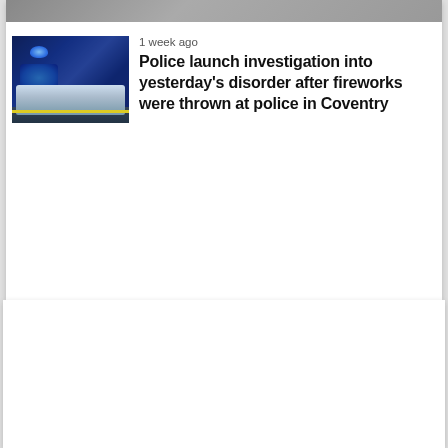[Figure (photo): Partial view of a person in dark clothing with a yellow tie, cropped at bottom of frame]
1 week ago
Police launch investigation into yesterday's disorder after fireworks were thrown at police in Coventry
[Figure (photo): Police van with blue flashing lights at night in an urban setting]